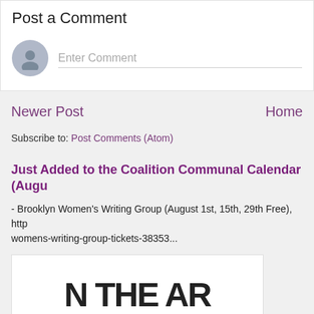Post a Comment
Enter Comment
Newer Post
Home
Subscribe to: Post Comments (Atom)
Just Added to the Coalition Communal Calendar (Augu...
- Brooklyn Women's Writing Group (August 1st, 15th, 29th Free), http womens-writing-group-tickets-38353...
[Figure (photo): Partial image showing large hand-lettered or spray-painted text reading '...IN THE AR' on a white background]